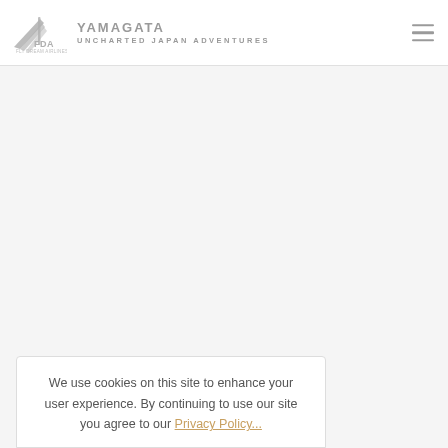YAMAGATA UNCHARTED JAPAN ADVENTURES
[Figure (logo): FDA Fly Dream Airlines logo with stylized wing/arrow icon in gray]
We use cookies on this site to enhance your user experience. By continuing to use our site you agree to our Privacy Policy...